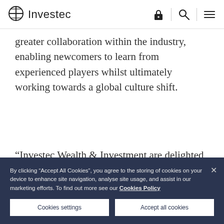Investec
greater collaboration within the industry, enabling newcomers to learn from experienced players whilst ultimately working towards a global culture shift.
“Investec Wealth & Investment are delighted to be an official signatory and publicly demonstrate our
By clicking “Accept All Cookies”, you agree to the storing of cookies on your device to enhance site navigation, analyse site usage, and assist in our marketing efforts. To find out more see our Cookies Policy
Cookies settings
Accept all cookies